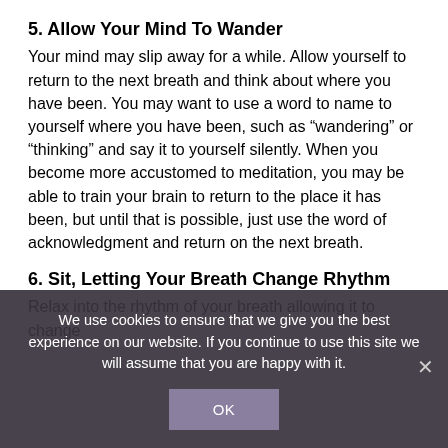5. Allow Your Mind To Wander
Your mind may slip away for a while. Allow yourself to return to the next breath and think about where you have been. You may want to use a word to name to yourself where you have been, such as “wandering” or “thinking” and say it to yourself silently. When you become more accustomed to meditation, you may be able to train your brain to return to the place it has been, but until that is possible, just use the word of acknowledgment and return on the next breath.
6. Sit, Letting Your Breath Change Rhythm
Relax into the rhythm of your breath allowing it to change from the next moment to moment.
We use cookies to ensure that we give you the best experience on our website. If you continue to use this site we will assume that you are happy with it.